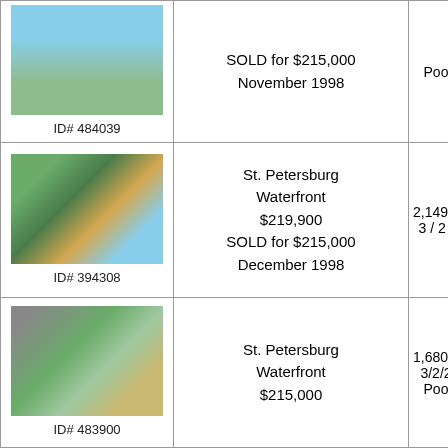| Photo / ID | Description | Details |
| --- | --- | --- |
| ID# 484039 | SOLD for $215,000
November 1998 | Poo... |
| ID# 394308 | St. Petersburg
Waterfront
$219,900
SOLD for $215,000
December 1998 | 2,149 s...
3 / 2 /... |
| ID# 483900 | St. Petersburg
Waterfront
$215,000 | 1,680 s...
3/2/2...
Poo... |
| (photo) | St. Petersburg
Waterfront
$200,000 | 1,738 s...
2/2/2...
Poo... |